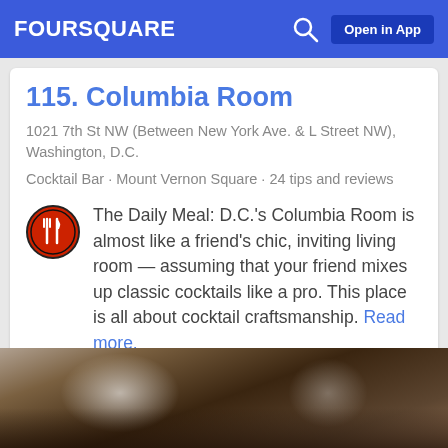FOURSQUARE  Open in App
115. Columbia Room
1021 7th St NW (Between New York Ave. & L Street NW), Washington, D.C.
Cocktail Bar · Mount Vernon Square · 24 tips and reviews
The Daily Meal: D.C.'s Columbia Room is almost like a friend's chic, inviting living room — assuming that your friend mixes up classic cocktails like a pro. This place is all about cocktail craftsmanship. Read more.
[Figure (photo): A photo of cocktail drinks, blurry close-up view of glasses with drinks on a table]